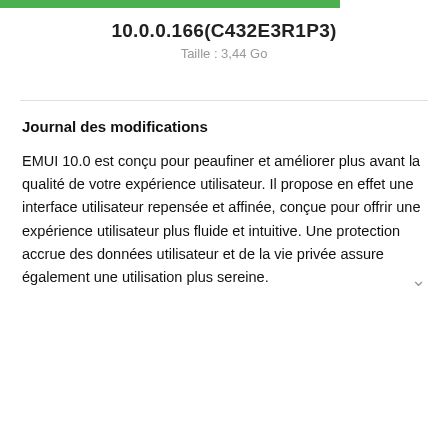10.0.0.166(C432E3R1P3)
Taille : 3,44 Go
Journal des modifications
EMUI 10.0 est conçu pour peaufiner et améliorer plus avant la qualité de votre expérience utilisateur. Il propose en effet une interface utilisateur repensée et affinée, conçue pour offrir une expérience utilisateur plus fluide et intuitive. Une protection accrue des données utilisateur et de la vie privée assure également une utilisation plus sereine.